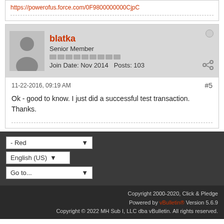https://powerofus.force.com/0F9800000000CjpC
blatka
Senior Member
Join Date: Nov 2014  Posts: 103
11-22-2016, 09:19 AM
#5
Ok - good to know. I just did a successful test transaction.
Thanks.
Copyright 2000-2020, Click & Pledge
Powered by vBulletin® Version 5.6.9
Copyright © 2022 MH Sub I, LLC dba vBulletin. All rights reserved.